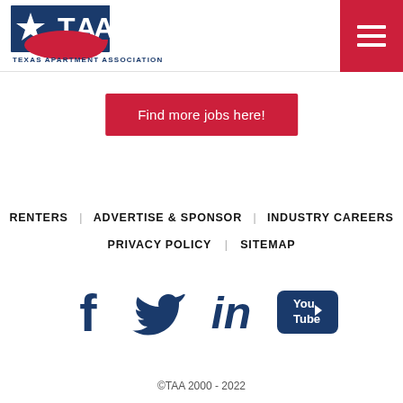[Figure (logo): Texas Apartment Association logo with star and TAA text, red and blue colors]
Find more jobs here!
RENTERS   ADVERTISE & SPONSOR   INDUSTRY CAREERS
PRIVACY POLICY   SITEMAP
[Figure (illustration): Social media icons: Facebook, Twitter, LinkedIn, YouTube in dark blue]
©TAA 2000 - 2022